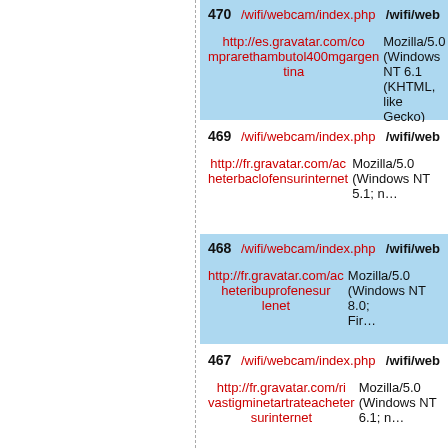| # | Path | Right Path | Referer | User-Agent |
| --- | --- | --- | --- | --- |
| 470 | /wifi/webcam/index.php | /wifi/web... | http://es.gravatar.com/comprarethambutol400mgargentina | Mozilla/5.0 (Windows NT 6.1 (KHTML, like Gecko) Chr... |
| 469 | /wifi/webcam/index.php | /wifi/web... | http://fr.gravatar.com/acheterbaclofensurinternet | Mozilla/5.0 (Windows NT 5.1; n... |
| 468 | /wifi/webcam/index.php | /wifi/web... | http://fr.gravatar.com/acheteribuprofenesur lenet | Mozilla/5.0 (Windows NT 8.0; Fir... |
| 467 | /wifi/webcam/index.php | /wifi/web... | http://fr.gravatar.com/rivastigminetartrateachetersurinternet | Mozilla/5.0 (Windows NT 6.1; n... |